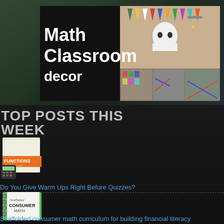[Figure (illustration): Math Classroom Decor banner image with black background showing bold white text 'Math Classroom decor' on left and collage of classroom decoration photos on right, plus a row of smaller classroom photos below.]
TOP POSTS THIS WEEK
[Figure (illustration): Thumbnail image for 'Functions Warm Ups' workbook with orange and green cover, calculator in foreground.]
Do You Give Warm Ups Right Before Quizzes?
[Figure (illustration): Thumbnail image for 'Scaffolded Consumer Math' spiral notebook with green cover.]
Scaffolded consumer math curriculum for building financial literacy